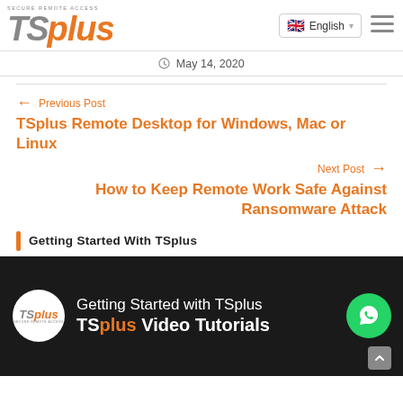TSplus Secure Remote Access — English
May 14, 2020
← Previous Post
TSplus Remote Desktop for Windows, Mac or Linux
Next Post →
How to Keep Remote Work Safe Against Ransomware Attack
Getting Started With TSplus
[Figure (screenshot): Video thumbnail for 'Getting Started with TSplus — TSplus Video Tutorials' on dark background with TSplus logo circle and WhatsApp button]